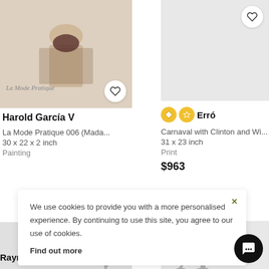[Figure (photo): Artwork image left top - La Mode Pratique illustration with figure, heart button overlay]
[Figure (photo): Artwork image right top - gray placeholder with heart button]
Harold García V
La Mode Pratique 006 (Mada...
30 x 22 x 2 inch
Painting
Erró
Carnaval with Clinton and Wi...
31 x 23 inch
Print
$963
[Figure (photo): Bottom left artwork image - gray with V watermark letter]
[Figure (photo): Bottom right artwork image - gray with A watermark letter]
Raymond Poulet
We use cookies to provide you with a more personalised experience. By continuing to use this site, you agree to our use of cookies. Find out more